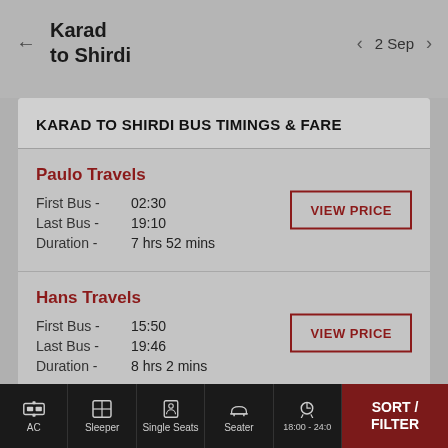← Karad to Shirdi   < 2 Sep >
KARAD TO SHIRDI BUS TIMINGS & FARE
Paulo Travels
First Bus -  02:30
Last Bus -   19:10
Duration -   7 hrs 52 mins
Hans Travels
First Bus -  15:50
Last Bus -   19:46
Duration -   8 hrs 2 mins
AC   Sleeper   Single Seats   Seater   18:00 - 24:0   SORT / FILTER